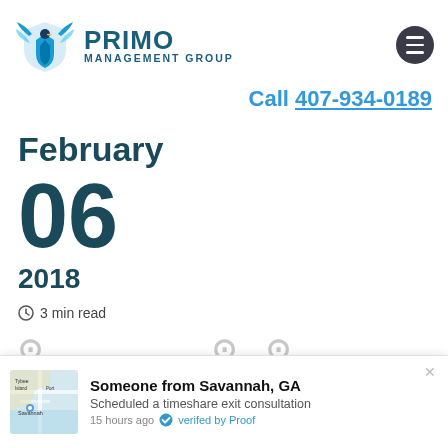[Figure (logo): Primo Management Group logo with eagle/shield icon and company name]
Call 407-934-0189
February
06
2018
3 min read
[Figure (screenshot): Notification popup: Someone from Savannah, GA scheduled a timeshare exit consultation. 15 hours ago. Verified by Proof. Includes a small map thumbnail of Savannah.]